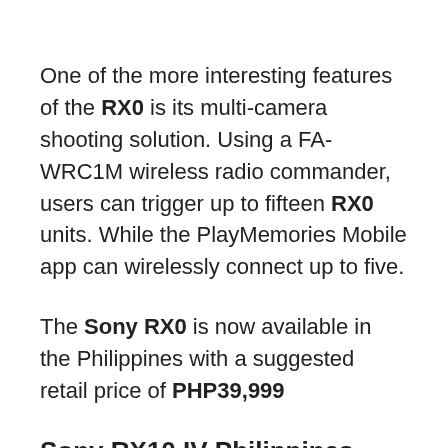One of the more interesting features of the RX0 is its multi-camera shooting solution. Using a FA-WRC1M wireless radio commander, users can trigger up to fifteen RX0 units. While the PlayMemories Mobile app can wirelessly connect up to five.
The Sony RX0 is now available in the Philippines with a suggested retail price of PHP39,999
Sony RX10 IV Philippines